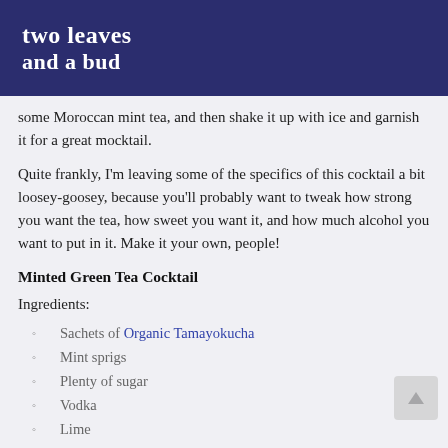two leaves and a bud
some Moroccan mint tea, and then shake it up with ice and garnish it for a great mocktail.
Quite frankly, I'm leaving some of the specifics of this cocktail a bit loosey-goosey, because you'll probably want to tweak how strong you want the tea, how sweet you want it, and how much alcohol you want to put in it. Make it your own, people!
Minted Green Tea Cocktail
Ingredients:
Sachets of Organic Tamayokucha
Mint sprigs
Plenty of sugar
Vodka
Lime
Ice
Directions: